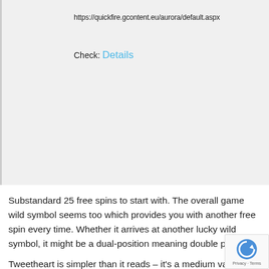https://quickfire.gcontent.eu/aurora/default.aspx
Check: Details
Substandard 25 free spins to start with. The overall game wild symbol seems too which provides you with another free spin every time. Whether it arrives at another lucky wild symbol, it might be a dual-position meaning double payouts.
Tweetheart is simpler than it reads – it's a medium variance